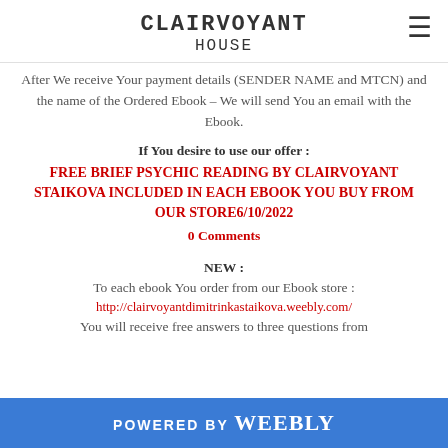CLAIRVOYANT HOUSE
After We receive Your payment details (SENDER NAME and MTCN) and the name of the Ordered Ebook – We will send You an email with the Ebook.
If You desire to use our offer :
FREE BRIEF PSYCHIC READING BY CLAIRVOYANT STAIKOVA INCLUDED IN EACH EBOOK YOU BUY FROM OUR STORE6/10/2022
0 Comments
NEW :
To each ebook You order from our Ebook store :
http://clairvoyantdimitrinkastaikova.weebly.com/
You will receive free answers to three questions from
POWERED BY weebly